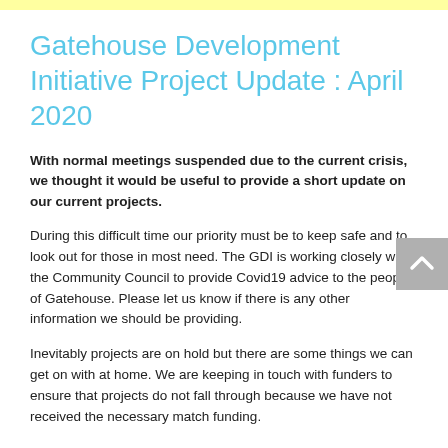Gatehouse Development Initiative Project Update : April 2020
With normal meetings suspended due to the current crisis, we thought it would be useful to provide a short update on our current projects.
During this difficult time our priority must be to keep safe and to look out for those in most need.  The GDI is working closely with the Community Council to provide Covid19 advice to the people of Gatehouse.  Please let us know if there is any other information we should be providing.
Inevitably projects are on hold but there are some things we can get on with at home.  We are keeping in touch with funders to ensure that projects do not fall through because we have not received the necessary match funding.